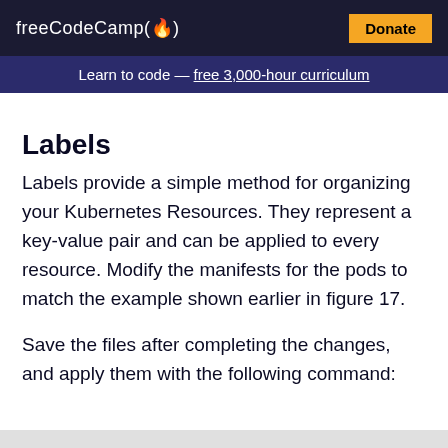freeCodeCamp(🔥)  Donate
Learn to code — free 3,000-hour curriculum
Labels
Labels provide a simple method for organizing your Kubernetes Resources. They represent a key-value pair and can be applied to every resource. Modify the manifests for the pods to match the example shown earlier in figure 17.
Save the files after completing the changes, and apply them with the following command: